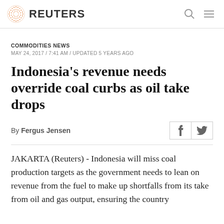REUTERS
COMMODITIES NEWS
MAY 24, 2017 / 7:41 AM / UPDATED 5 YEARS AGO
Indonesia's revenue needs override coal curbs as oil take drops
By Fergus Jensen
JAKARTA (Reuters) - Indonesia will miss coal production targets as the government needs to lean on revenue from the fuel to make up shortfalls from its take from oil and gas output, ensuring the country